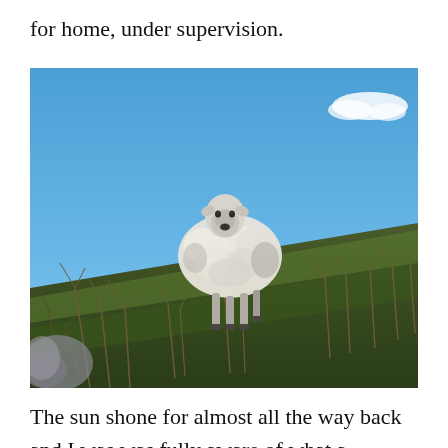for home, under supervision.
[Figure (photo): A white sheep standing on a grassy hillside covered with dry twigs and sparse vegetation, looking directly at the camera against a clear blue sky with a small white cloud in the upper right.]
The sun shone for almost all the way back and I was was fully aware of what a privilege it is to